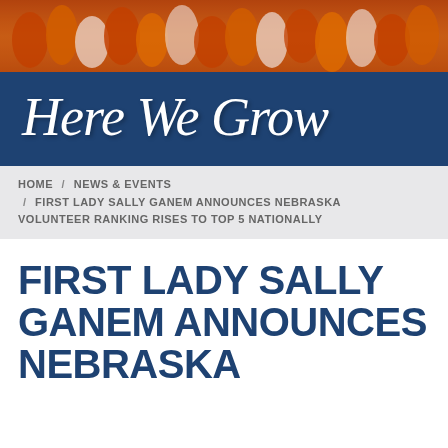[Figure (photo): Crowd of fans wearing orange and white shirts in stadium bleachers]
Here We Grow
HOME / NEWS & EVENTS / FIRST LADY SALLY GANEM ANNOUNCES NEBRASKA VOLUNTEER RANKING RISES TO TOP 5 NATIONALLY
FIRST LADY SALLY GANEM ANNOUNCES NEBRASKA